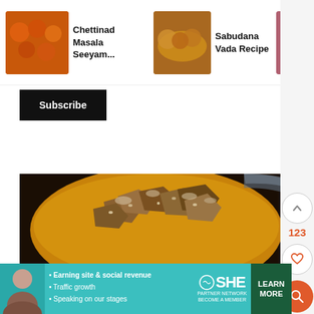[Figure (screenshot): Top navigation bar showing three recipe thumbnails: Chettinad Masala Seeyam, Sabudana Vada Recipe, Chana Su... Recipe, with a right arrow navigation button]
Chettinad Masala Seeyam...
Sabudana Vada Recipe
Chana Su... Recipe
Subscribe
[Figure (photo): Close-up photo of jaggery pieces in a yellow/golden kadai (wok)]
take jaggery in a kadai
[Figure (photo): Second photo showing a golden/yellow liquid in a kadai, partially visible]
123
[Figure (screenshot): Ad banner for SHE Partner Network with bullet points: Earning site & social revenue, Traffic growth, Speaking on our stages. LEARN MORE button.]